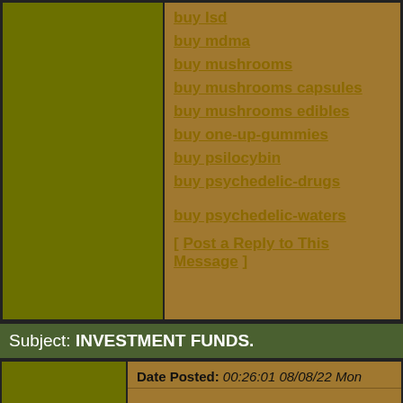buy lsd
buy mdma
buy mushrooms
buy mushrooms capsules
buy mushrooms edibles
buy one-up-gummies
buy psilocybin
buy psychedelic-drugs
buy psychedelic-waters
[ Post a Reply to This Message ]
Subject: INVESTMENT FUNDS.
Date Posted: 00:26:01 08/08/22 Mon
Author: